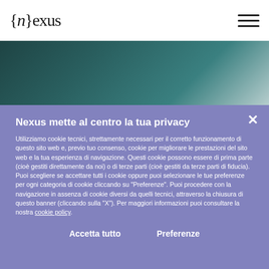[Figure (screenshot): Website header with {n}exus logo on the left and hamburger menu icon on the right, white bar over teal/dark background image]
Nexus mette al centro la tua privacy
Utilizziamo cookie tecnici, strettamente necessari per il corretto funzionamento di questo sito web e, previo tuo consenso, cookie per migliorare le prestazioni del sito web e la tua esperienza di navigazione. Questi cookie possono essere di prima parte (cioè gestiti direttamente da noi) o di terze parti (cioè gestiti da terze parti di fiducia). Puoi scegliere se accettare tutti i cookie oppure puoi selezionare le tue preferenze per ogni categoria di cookie cliccando su "Preferenze". Puoi procedere con la navigazione in assenza di cookie diversi da quelli tecnici, attraverso la chiusura di questo banner (cliccando sulla "X"). Per maggiori informazioni puoi consultare la nostra cookie policy.
Accetta tutto     Preferenze